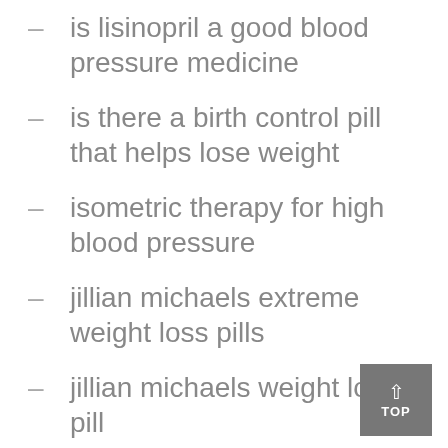is lisinopril a good blood pressure medicine
is there a birth control pill that helps lose weight
isometric therapy for high blood pressure
jillian michaels extreme weight loss pills
jillian michaels weight loss pill
jillian michaels weight loss supplements
Kentucky Hemp Cbd Oil
keto diabetes high blood sugar
keto shark tank pills weight loss